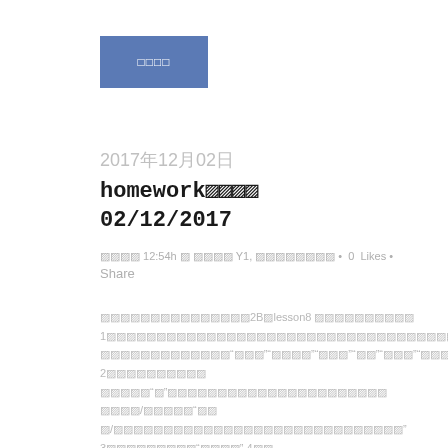[Figure (other): Blue rectangular button with unreadable/encoded text characters]
2017年12月02日
homework課題提出
02/12/2017
投稿時間 12:54h に 投稿グループ Y1, コミュニティ名 • 0  Likes •
Share
本文テキスト（文字化け）2Bのlesson8 の内容のまとめ
1本文テキスト（文字化けしている長い文章のサンプル）
本文テキスト「文字」「文字化」「文字」「文」「文字」「文字化」 2本文テキスト
文字化"文"本文テキスト文字化けのサンプルテキスト 文字化/文字化け"文
字/本文テキスト文字化けのサンプルテキストの文" 3本文テキスト"文字化" 4文字
本文テキスト文字化けのサンプルテキスト，　文字"文字化" 3本文テキスト文字